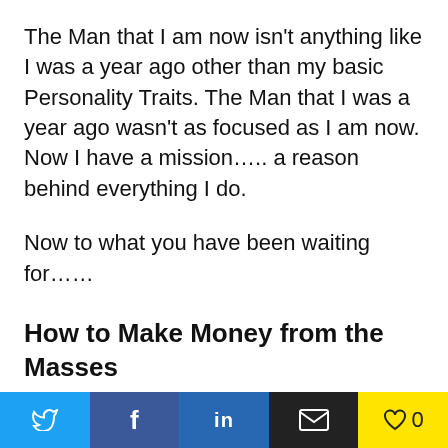The Man that I am now isn't anything like I was a year ago other than my basic Personality Traits. The Man that I was a year ago wasn't as focused as I am now. Now I have a mission….. a reason behind everything I do.
Now to what you have been waiting for……
How to Make Money from the Masses
I am going to briefly go over how you can
Twitter | Facebook | LinkedIn | Email | Like 0